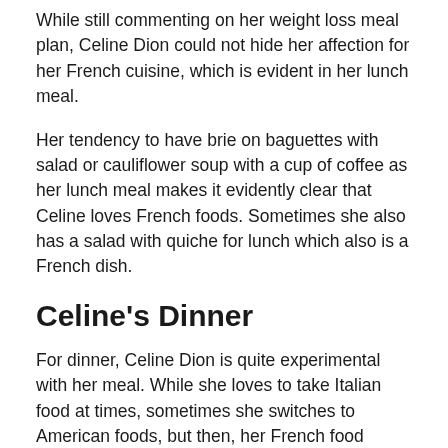While still commenting on her weight loss meal plan, Celine Dion could not hide her affection for her French cuisine, which is evident in her lunch meal.
Her tendency to have brie on baguettes with salad or cauliflower soup with a cup of coffee as her lunch meal makes it evidently clear that Celine loves French foods. Sometimes she also has a salad with quiche for lunch which also is a French dish.
Celine's Dinner
For dinner, Celine Dion is quite experimental with her meal. While she loves to take Italian food at times, sometimes she switches to American foods, but then, her French food